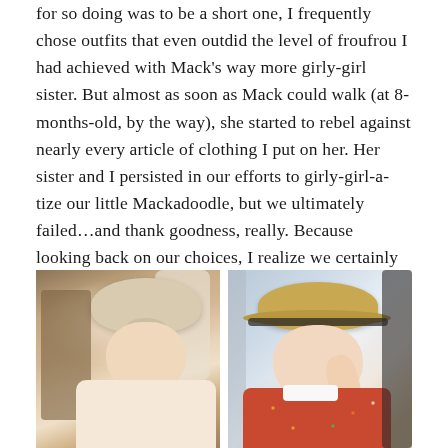for so doing was to be a short one, I frequently chose outfits that even outdid the level of froufrou I had achieved with Mack's way more girly-girl sister. But almost as soon as Mack could walk (at 8-months-old, by the way), she started to rebel against nearly every article of clothing I put on her. Her sister and I persisted in our efforts to girly-girl-a-tize our little Mackadoodle, but we ultimately failed…and thank goodness, really. Because looking back on our choices, I realize we certainly did overplay our hands.
[Figure (photo): Two side-by-side photos of baby girls dressed in elaborate outfits. Left photo: a baby wearing a linen beret-style hat with a bow, a creamy white puff-sleeve dress with buttons, sitting in a wooden chair, face looking down. Right photo: a baby wearing a wide-brimmed straw hat with a black band, a colorful floral dress with white collar, raising one hand to face, seated in a stroller or car seat with dark frame visible.]